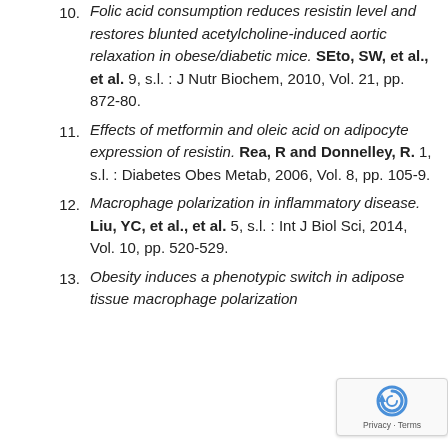10. Folic acid consumption reduces resistin level and restores blunted acetylcholine-induced aortic relaxation in obese/diabetic mice. SEto, SW, et al., et al. 9, s.l. : J Nutr Biochem, 2010, Vol. 21, pp. 872-80.
11. Effects of metformin and oleic acid on adipocyte expression of resistin. Rea, R and Donnelley, R. 1, s.l. : Diabetes Obes Metab, 2006, Vol. 8, pp. 105-9.
12. Macrophage polarization in inflammatory disease. Liu, YC, et al., et al. 5, s.l. : Int J Biol Sci, 2014, Vol. 10, pp. 520-529.
13. Obesity induces a phenotypic switch in adipose tissue macrophage polarization